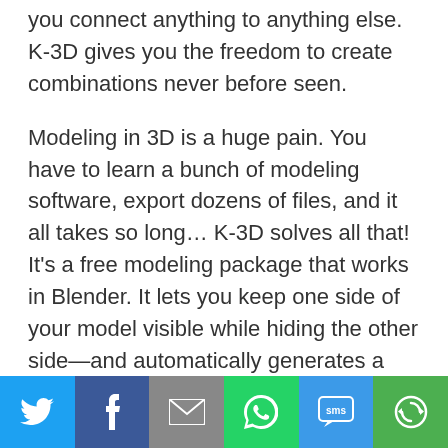you connect anything to anything else. K-3D gives you the freedom to create combinations never before seen.
Modeling in 3D is a huge pain. You have to learn a bunch of modeling software, export dozens of files, and it all takes so long... K-3D solves all that! It's a free modeling package that works in Blender. It lets you keep one side of your model visible while hiding the other side—and automatically generates a mirrored subdivision surface for you! It's easy to use and makes creating complex workflows super simple.
[Figure (infographic): Social sharing bar with six buttons: Twitter (blue bird icon), Facebook (dark blue f icon), Email (grey envelope icon), WhatsApp (green phone/chat icon), SMS (blue SMS bubble icon), More (green circular arrow icon)]